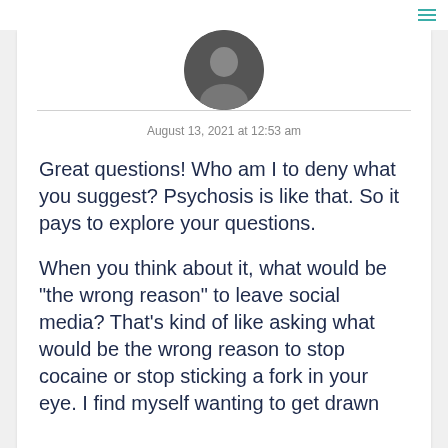[Figure (photo): Circular avatar photo of a person, dark/grayscale]
August 13, 2021 at 12:53 am
Great questions! Who am I to deny what you suggest? Psychosis is like that. So it pays to explore your questions.
When you think about it, what would be "the wrong reason" to leave social media? That's kind of like asking what would be the wrong reason to stop cocaine or stop sticking a fork in your eye. I find myself wanting to get drawn